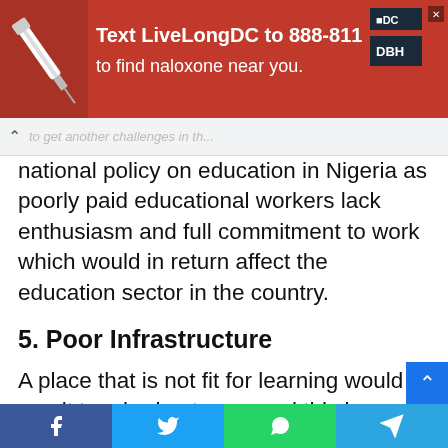[Figure (infographic): Red advertisement banner: Text LiveLongDC to 888-811 to find naloxone near you. Includes syringe image on left and DC/DHH logos on right.]
Text LiveLongDC to 888-811 to find naloxone near you.
national policy on education in Nigeria as poorly paid educational workers lack enthusiasm and full commitment to work which would in return affect the education sector in the country.
5. Poor Infrastructure
A place that is not fit for learning would result to a bad outcome and this is applicable to the educational sector in Nigeria as most institutions of learning are in bad condition students are